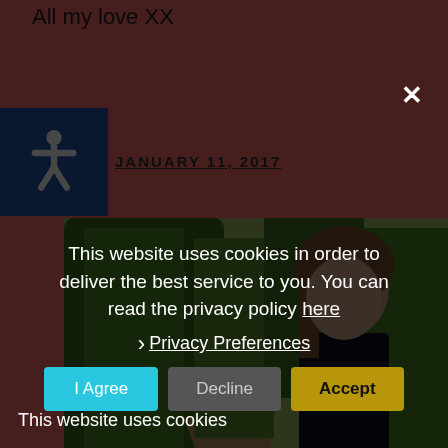All my love XX
JANUARY 11, 2017
[Figure (photo): Young woman smiling outdoors in front of tree-lined path, wearing black top]
This website uses cookies in order to deliver the best service to you. You can read the privacy policy here
› Privacy Preferences
This website uses cookies
I Agree
Decline
Accept